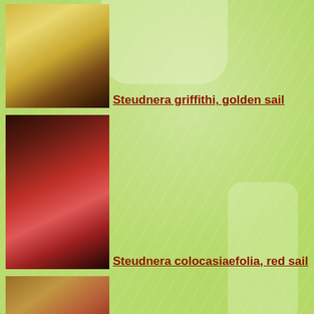[Figure (photo): Photo of Steudnera griffithi golden sail plant - golden/cream colored spathe flower]
Steudnera griffithi, golden sail
[Figure (photo): Photo of Steudnera colocasiaefolia red sail - red spathe flower against dark soil]
Steudnera colocasiaefolia, red sail
[Figure (photo): Photo of Typhonium jinpingense artist's aroid - reddish-brown spadix with grass-like foliage]
Typhonium jinpingense, artist's aroid